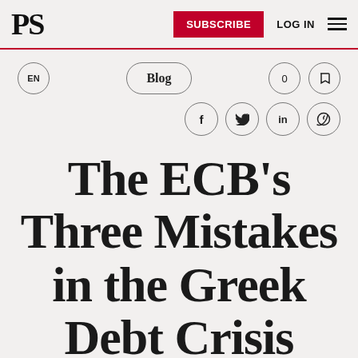PS | SUBSCRIBE | LOG IN
EN | Blog | 0 | bookmark
f | twitter | in | link
The ECB's Three Mistakes in the Greek Debt Crisis